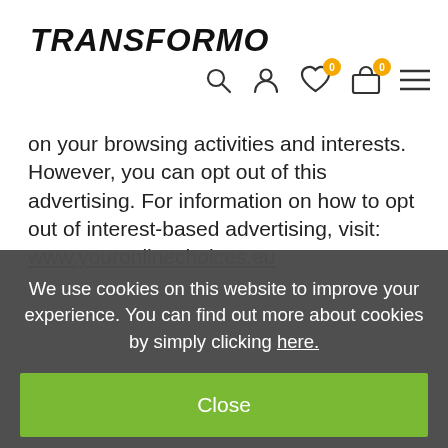TRANSFORMO
on your browsing activities and interests. However, you can opt out of this advertising. For information on how to opt out of interest-based advertising, visit: www.youronlinechoices.eu
We use cookies on this website to improve your experience. You can find out more about cookies by simply clicking here.
Close
Accept